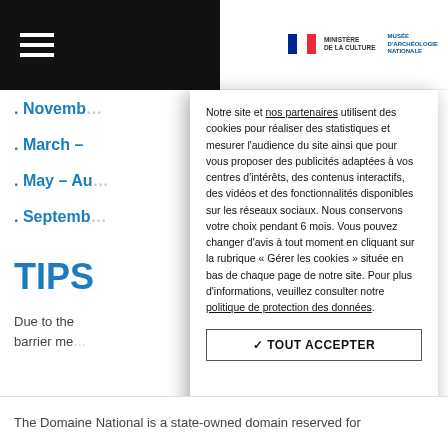Ministère de la Culture / Musée d'Archéologie Nationale
. November
. March -
. May - Au
. Septemb
TIPS
Due to the barrier me
Notre site et nos partenaires utilisent des cookies pour réaliser des statistiques et mesurer l'audience du site ainsi que pour vous proposer des publicités adaptées à vos centres d'intérêts, des contenus interactifs, des vidéos et des fonctionnalités disponibles sur les réseaux sociaux. Nous conservons votre choix pendant 6 mois. Vous pouvez changer d'avis à tout moment en cliquant sur la rubrique « Gérer les cookies » située en bas de chaque page de notre site. Pour plus d'informations, veuillez consulter notre politique de protection des données.
✓ TOUT ACCEPTER
The Domaine National is a state-owned domain reserved for